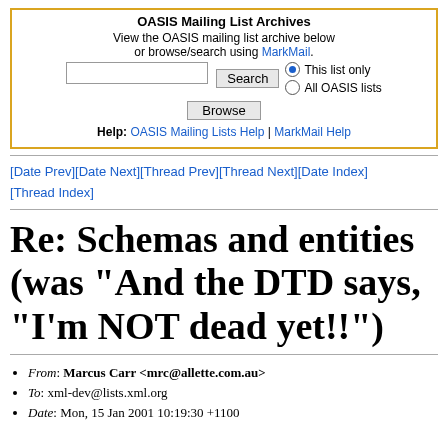[Figure (screenshot): OASIS Mailing List Archives search widget with search box, Search button, Browse button, MarkMail link, radio buttons for This list only / All OASIS lists, and Help links.]
[Date Prev][Date Next][Thread Prev][Thread Next][Date Index][Thread Index]
Re: Schemas and entities (was "And the DTD says, "I'm NOT dead yet!!")
From: Marcus Carr <mrc@allette.com.au>
To: xml-dev@lists.xml.org
Date: Mon, 15 Jan 2001 10:19:30 +1100